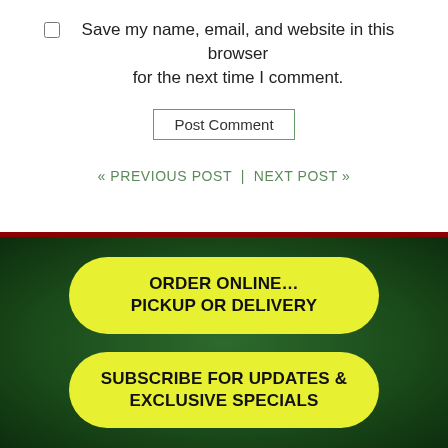Save my name, email, and website in this browser for the next time I comment.
Post Comment
« PREVIOUS POST  |  NEXT POST »
ORDER ONLINE... PICKUP OR DELIVERY
SUBSCRIBE FOR UPDATES & EXCLUSIVE SPECIALS